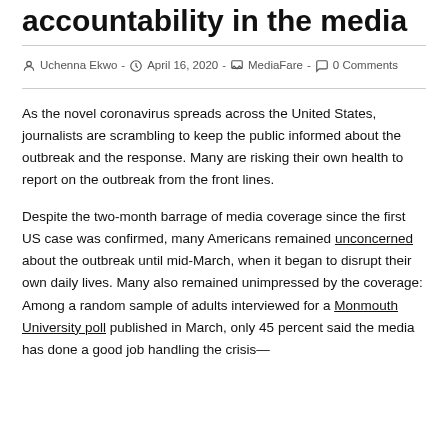accountability in the media
Uchenna Ekwo  -  April 16, 2020  -  MediaFare  -  0 Comments
As the novel coronavirus spreads across the United States, journalists are scrambling to keep the public informed about the outbreak and the response. Many are risking their own health to report on the outbreak from the front lines.
Despite the two-month barrage of media coverage since the first US case was confirmed, many Americans remained unconcerned about the outbreak until mid-March, when it began to disrupt their own daily lives. Many also remained unimpressed by the coverage: Among a random sample of adults interviewed for a Monmouth University poll published in March, only 45 percent said the media has done a good job handling the crisis—